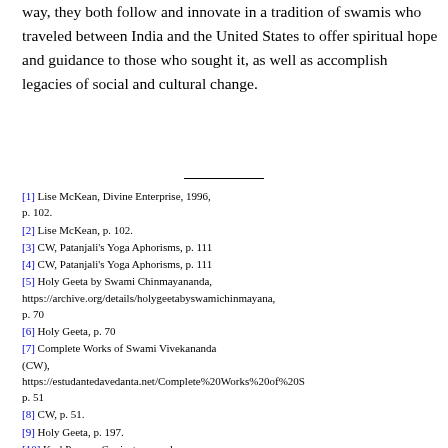way, they both follow and innovate in a tradition of swamis who traveled between India and the United States to offer spiritual hope and guidance to those who sought it, as well as accomplish legacies of social and cultural change.
[1] Lise McKean, Divine Enterprise, 1996, p. 102.
[2] Lise McKean, p. 102.
[3] CW, Patanjali's Yoga Aphorisms, p. 111
[4] CW, Patanjali's Yoga Aphorisms, p. 111
[5] Holy Geeta by Swami Chinmayananda, https://archive.org/details/holygeetabyswamichinmayana, p. 70
[6] Holy Geeta, p. 70
[7] Complete Works of Swami Vivekananda (CW), https://estudantedavedanta.net/Complete%20Works%20of%20S, p. 51
[8] CW, p. 51.
[9] Holy Geeta, p. 197.
[10] Karl Popper, Conjectures and refutations: The growth of scientific